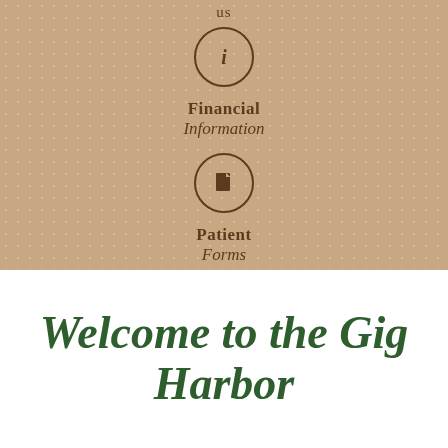us
[Figure (infographic): Circle icon with lowercase letter i (information symbol) in dark brown on tan dotted background]
Financial Information
[Figure (infographic): Circle icon with document/file symbol in dark brown on tan dotted background]
Patient Forms
Welcome to the Gig Harbor